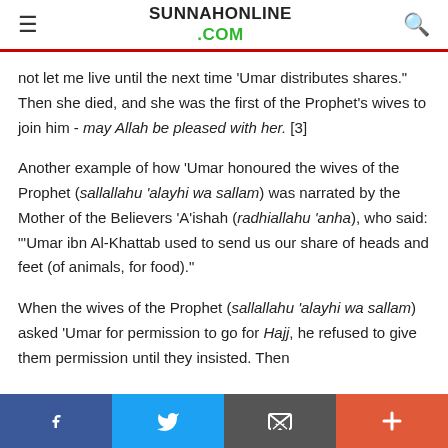SUNNAHONLINE.COM
not let me live until the next time 'Umar distributes shares." Then she died, and she was the first of the Prophet's wives to join him - may Allah be pleased with her. [3]
Another example of how 'Umar honoured the wives of the Prophet (sallallahu 'alayhi wa sallam) was narrated by the Mother of the Believers 'A'ishah (radhiallahu 'anha), who said: "'Umar ibn Al-Khattab used to send us our share of heads and feet (of animals, for food)."
When the wives of the Prophet (sallallahu 'alayhi wa sallam) asked 'Umar for permission to go for Hajj, he refused to give them permission until they insisted. Then
f  Twitter  Email  +